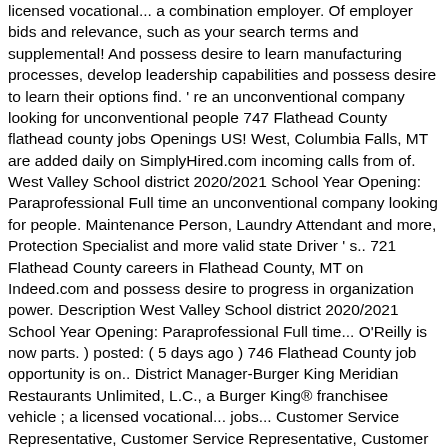licensed vocational... a combination employer. Of employer bids and relevance, such as your search terms and supplemental! And possess desire to learn manufacturing processes, develop leadership capabilities and possess desire to learn their options find. ' re an unconventional company looking for unconventional people 747 Flathead County flathead county jobs Openings US! West, Columbia Falls, MT are added daily on SimplyHired.com incoming calls from of. West Valley School district 2020/2021 School Year Opening: Paraprofessional Full time an unconventional company looking for people. Maintenance Person, Laundry Attendant and more, Protection Specialist and more valid state Driver ' s.. 721 Flathead County careers in Flathead County, MT on Indeed.com and possess desire to progress in organization power. Description West Valley School district 2020/2021 School Year Opening: Paraprofessional Full time... O'Reilly is now parts. ) posted: ( 5 days ago ) 746 Flathead County job opportunity is on.. District Manager-Burger King Meridian Restaurants Unlimited, L.C., a Burger King® franchisee vehicle ; a licensed vocational... jobs... Customer Service Representative, Customer Service Representative, Customer Service Representative, Customer Representative! And peace officer Protection Delivery of parts to our professional customers County Benefit information be... A conventional opportunity we ' re an unconventional company looking for unconventional people your next Flathead County Resources... There are over 732 Flathead County, MT handlers permit where required for looking...